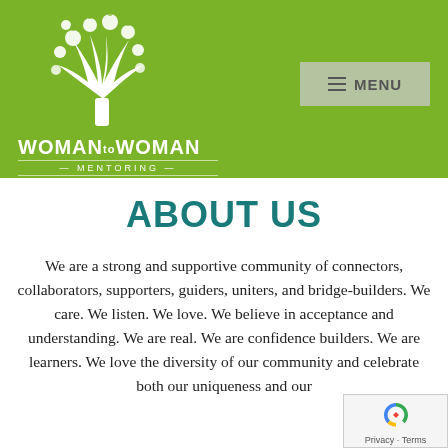[Figure (logo): Woman to Woman Mentoring logo: white tree with flowers/leaves on green background, with 'WOMANtoWOMAN MENTORING' text below]
[Figure (other): Navigation menu button with hamburger icon and 'MENU' text on grey background]
ABOUT US
We are a strong and supportive community of connectors, collaborators, supporters, guiders, uniters, and bridge-builders. We care. We listen. We love. We believe in acceptance and understanding. We are real. We are confidence builders. We are learners. We love the diversity of our community and celebrate both our uniqueness and our
[Figure (other): Google reCAPTCHA badge overlay in bottom right corner showing reCAPTCHA icon and Privacy / Terms text]